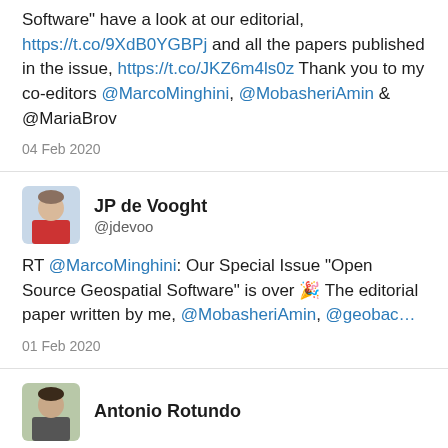Software" have a look at our editorial, https://t.co/9XdB0YGBPj and all the papers published in the issue, https://t.co/JKZ6m4ls0z Thank you to my co-editors @MarcoMinghini, @MobasheriAmin & @MariaBrov
04 Feb 2020
[Figure (photo): Profile photo of JP de Vooght, a man in a red top]
JP de Vooght @jdevoo
RT @MarcoMinghini: Our Special Issue "Open Source Geospatial Software" is over 🎉 The editorial paper written by me, @MobasheriAmin, @geobac...
01 Feb 2020
[Figure (photo): Profile photo of Antonio Rotundo]
Antonio Rotundo